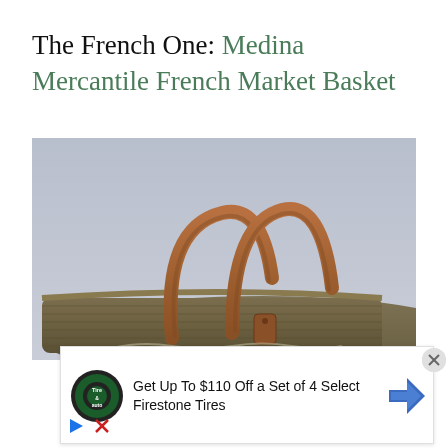The French One: Medina Mercantile French Market Basket
[Figure (photo): A woven straw French market basket with rounded arched brown leather handles and a leather tag, photographed against a light grey-blue background.]
[Figure (infographic): Advertisement overlay: Tire & Auto logo. Text: 'Get Up To $110 Off a Set of 4 Select Firestone Tires' with a blue navigation arrow icon on the right.]